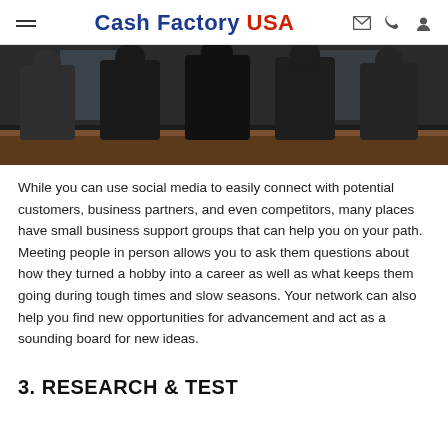Cash Factory USA
[Figure (photo): Group of business people in dark suits standing around a table, viewed from chest down]
While you can use social media to easily connect with potential customers, business partners, and even competitors, many places have small business support groups that can help you on your path. Meeting people in person allows you to ask them questions about how they turned a hobby into a career as well as what keeps them going during tough times and slow seasons. Your network can also help you find new opportunities for advancement and act as a sounding board for new ideas.
3. RESEARCH & TEST